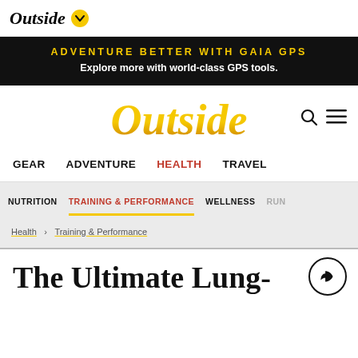Outside
[Figure (infographic): Outside magazine top navigation bar with logo and chevron badge]
[Figure (infographic): Black advertisement banner: ADVENTURE BETTER WITH GAIA GPS / Explore more with world-class GPS tools.]
[Figure (logo): Outside magazine main logo in large yellow italic serif font with search and hamburger menu icons]
[Figure (infographic): Main navigation bar with GEAR, ADVENTURE, HEALTH (active in red), TRAVEL]
[Figure (infographic): Sub-navigation bar with NUTRITION, TRAINING & PERFORMANCE (active), WELLNESS, RUN]
Health > Training & Performance
The Ultimate Lung-